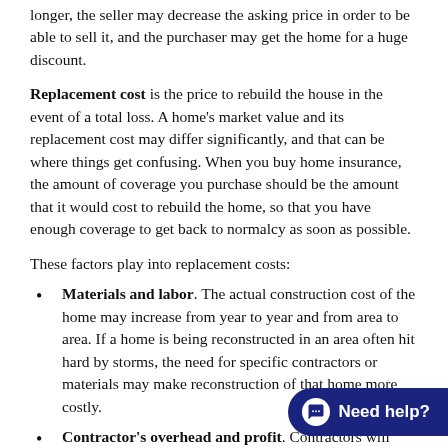longer, the seller may decrease the asking price in order to be able to sell it, and the purchaser may get the home for a huge discount.
Replacement cost is the price to rebuild the house in the event of a total loss. A home's market value and its replacement cost may differ significantly, and that can be where things get confusing. When you buy home insurance, the amount of coverage you purchase should be the amount that it would cost to rebuild the home, so that you have enough coverage to get back to normalcy as soon as possible.
These factors play into replacement costs:
Materials and labor. The actual construction cost of the home may increase from year to year and from area to area. If a home is being reconstructed in an area often hit hard by storms, the need for specific contractors or materials may make reconstruction of that home more costly.
Contractor's overhead and profit. Contractors will charge to keep their business running and make a profit on the reconstruction of the home. It is important to keep this in mind: In the reconstruction of your home, the can be asking a builder to stop all othe and focus on the reconstruction of your home specifically in a